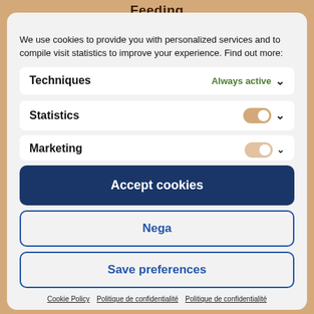Feeding
We use cookies to provide you with personalized services and to compile visit statistics to improve your experience. Find out more:
Techniques
Always active
Statistics
Marketing
Accept cookies
Nega
Save preferences
Cookie Policy   Politique de confidentialité   Politique de confidentialité